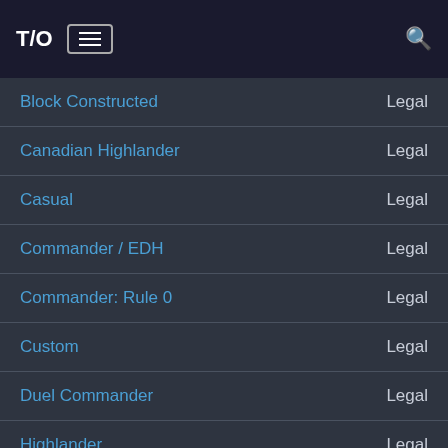T/O ☰ 🔍
| Format | Status |
| --- | --- |
| Block Constructed | Legal |
| Canadian Highlander | Legal |
| Casual | Legal |
| Commander / EDH | Legal |
| Commander: Rule 0 | Legal |
| Custom | Legal |
| Duel Commander | Legal |
| Highlander | Legal |
| Legacy | Legal |
| Leviathan | Legal |
| Limited | Legal |